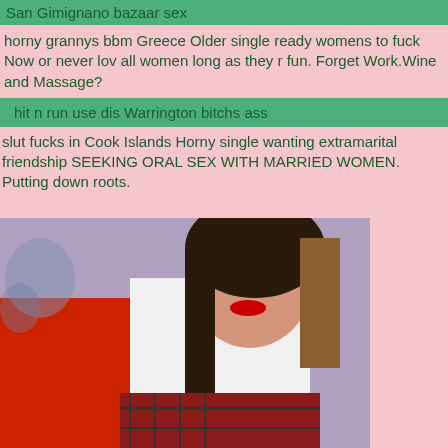San Gimignano bazaar sex
horny grannys bbm Greece Older single ready womens to fuck Now or never lov all women long as they r fun. Forget Work.Wine and Massage?
hit n run use dis Warrington bitchs ass
slut fucks in Cook Islands Horny single wanting extramarital friendship SEEKING ORAL SEX WITH MARRIED WOMEN. Putting down roots.
[Figure (photo): Young woman in white shirt and red outfit posing]